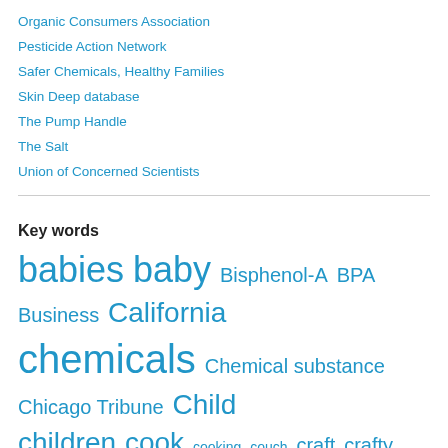Organic Consumers Association
Pesticide Action Network
Safer Chemicals, Healthy Families
Skin Deep database
The Pump Handle
The Salt
Union of Concerned Scientists
Key words
babies baby Bisphenol-A BPA Business California chemicals Chemical substance Chicago Tribune Child children cook cooking couch craft crafty dinner DIY do-it-yourself easy eco- environmental environmental health Facebook Family FDA felt Flame retardant